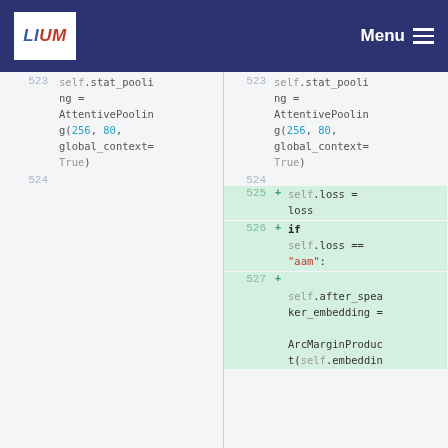LIUM | Menu
[Figure (screenshot): Code diff view showing two columns. Left column has line numbers 523 and 524 with code: self.stat_pooling = AttentivePooling(256, 80, global_context=True). Right column has the same for lines 523-524, plus added lines 525, 526, 527 with: self.loss = loss; if self.loss == "aam":; self.after_speaker_embedding = ArcMarginProduct(self.embeddin...]